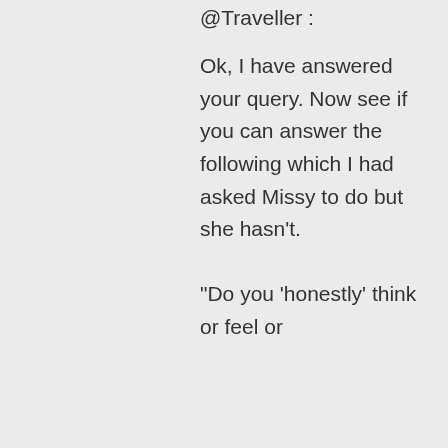@Traveller :
Ok, I have answered your query. Now see if you can answer the following which I had asked Missy to do but she hasn't.
“Do you ‘honestly’ think or feel or